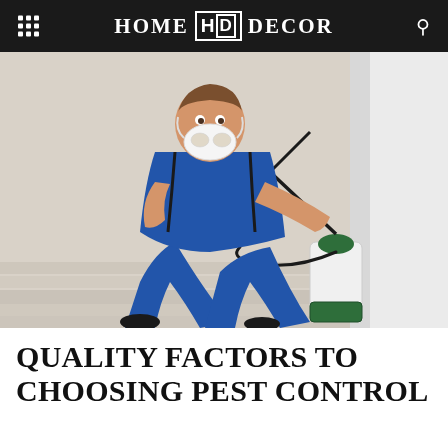HOME HD DECOR
[Figure (photo): A pest control worker in blue overalls and a white respirator mask, crouching down and spraying pesticide along a white baseboard wall using a green-and-white pressurized spray canister with a long black wand.]
QUALITY FACTORS TO CHOOSING PEST CONTROL